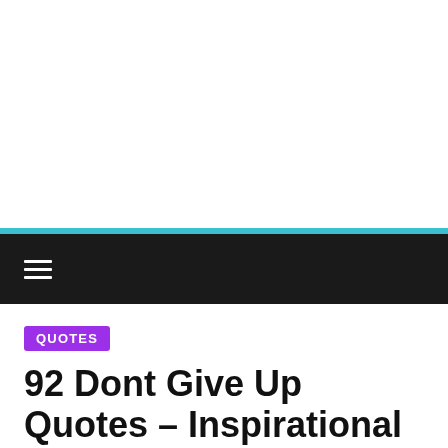[Figure (other): White blank area at top of webpage screenshot]
≡
QUOTES
92 Dont Give Up Quotes – Inspirational Never Give Up Quotes